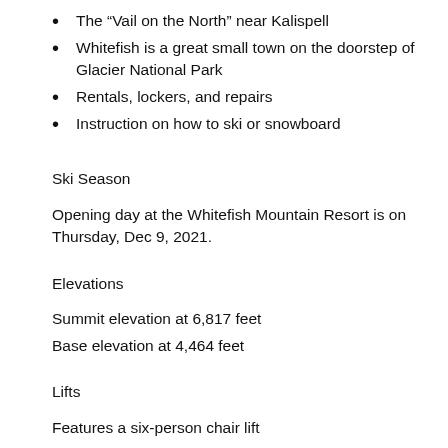The “Vail on the North” near Kalispell
Whitefish is a great small town on the doorstep of Glacier National Park
Rentals, lockers, and repairs
Instruction on how to ski or snowboard
Ski Season
Opening day at the Whitefish Mountain Resort is on Thursday, Dec 9, 2021.
Elevations
Summit elevation at 6,817 feet
Base elevation at 4,464 feet
Lifts
Features a six-person chair lift
Many chairs to suit the likes of everyone